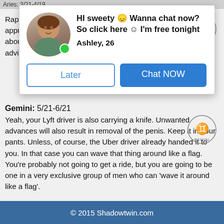Aries: 3/21-4/19
[Figure (screenshot): Dating app advertisement popup with profile photo of woman, text 'HI sweety Wanna chat now? So click here I'm free tonight', name 'Ashley, 26', and buttons 'Later' and 'Chat NOW']
Rape. It's a big, scary word. It will also be the most appropriate word for what the biggest guy in jail is about to do to you. Please confer with a Cancer for advice on how to handle it.
Gemini: 5/21-6/21
Yeah, your Lyft driver is also carrying a knife. Unwanted advances will also result in removal of the penis. Keep it in your pants. Unless, of course, the Uber driver already handed it to you. In that case you can wave that thing around like a flag. You're probably not going to get a ride, but you are going to be one in a very exclusive group of men who can 'wave it around like a flag'.
© 2015 Shadowtwin.com